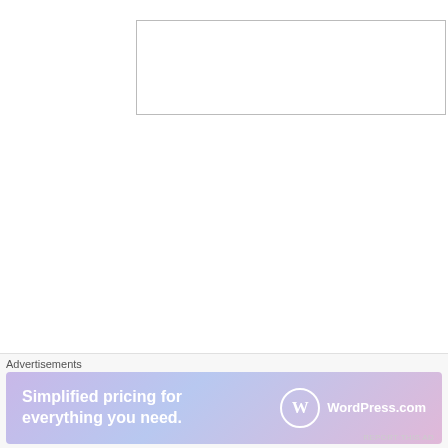[Figure (other): Empty text input box with thin border]
[Figure (other): Black 'Post Comment' button with white bold text]
Notify me of new comments via email.
Notify me of new posts via email.
About
Advertisements
[Figure (infographic): WordPress.com advertisement banner: 'Simplified pricing for everything you need.' with WordPress.com logo on gradient background]